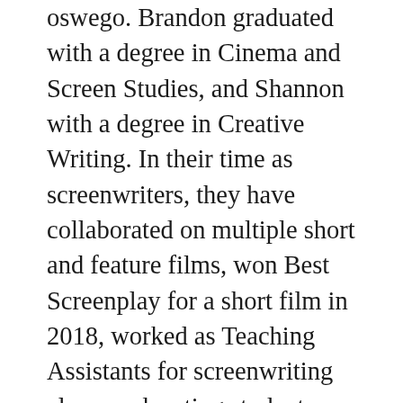oswego. Brandon graduated with a degree in Cinema and Screen Studies, and Shannon with a degree in Creative Writing. In their time as screenwriters, they have collaborated on multiple short and feature films, won Best Screenplay for a short film in 2018, worked as Teaching Assistants for screenwriting classes educating students on formatting, film production, and storytelling, taken multiple screenwriting classes for film and television, and worked as analysts for a confidential screenwriting competition in Los Angeles. Both have a passion for writing and helping others.
Established in July 2020, Script Assist is a screenplay feedback and editing business based off of Facebook. We provide our clients with 5